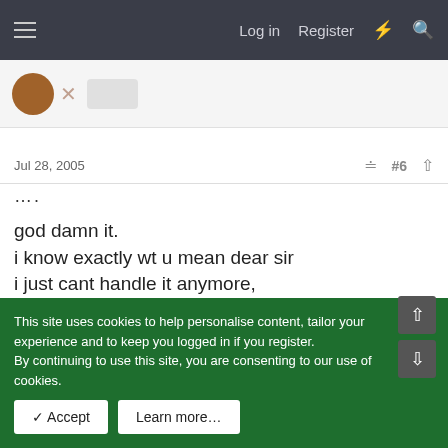≡  Log in  Register  ⚡  🔍
Jul 28, 2005   #6
....

god damn it.
i know exactly wt u mean dear sir
i just cant handle it anymore,
its just even when im kinda happy, i dont wqant to be happy
i smoked too much and drank too much today im just feeling really depressed
ffffffffffffffffffffffffffffffffffffffffffffffffffffffffffffffff
This site uses cookies to help personalise content, tailor your experience and to keep you logged in if you register.
By continuing to use this site, you are consenting to our use of cookies.
✓ Accept   Learn more...